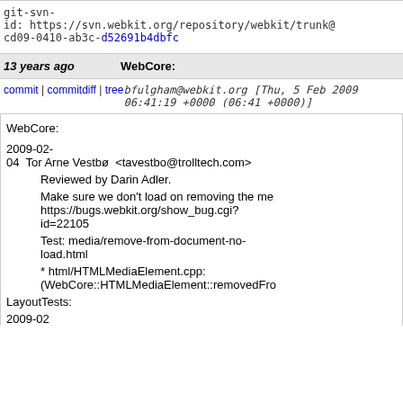git-svn-id: https://svn.webkit.org/repository/webkit/trunk@ cd09-0410-ab3c-d52691b4dbfc
13 years ago   WebCore:
commit | commitdiff | tree   bfulgham@webkit.org [Thu, 5 Feb 2009 06:41:19 +0000 (06:41 +0000)]
WebCore:

2009-02-04  Tor Arne Vestbø  <tavestbo@trolltech.com>

        Reviewed by Darin Adler.

        Make sure we don't load on removing the me https://bugs.webkit.org/show_bug.cgi?id=22105

        Test: media/remove-from-document-no-load.html

        * html/HTMLMediaElement.cpp:
        (WebCore::HTMLMediaElement::removedFro

LayoutTests:

2009-02